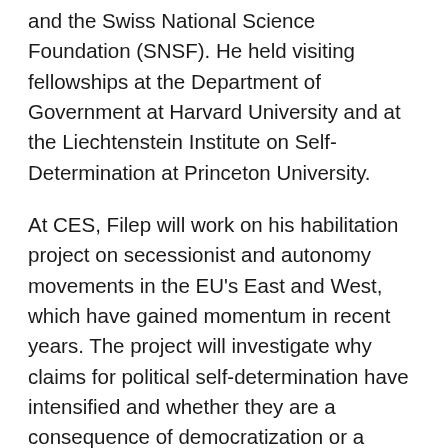and the Swiss National Science Foundation (SNSF). He held visiting fellowships at the Department of Government at Harvard University and at the Liechtenstein Institute on Self-Determination at Princeton University.
At CES, Filep will work on his habilitation project on secessionist and autonomy movements in the EU's East and West, which have gained momentum in recent years. The project will investigate why claims for political self-determination have intensified and whether they are a consequence of democratization or a democratic deficit in the EU and its member states. Further, it will investigate the involvement of civil society in the quest for political self-determination and the role of